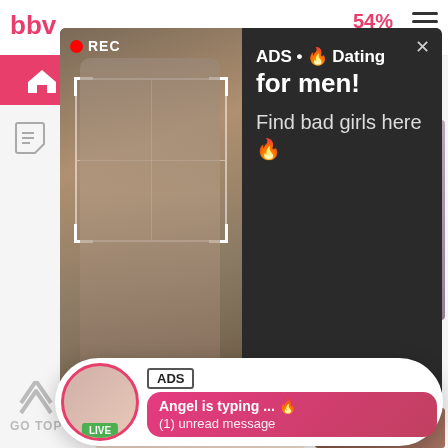[Figure (screenshot): Adult website UI background with logo 'bbw', navigation icons, and video thumbnail cards showing 'Legal Age' (376 views) and 'Champion Get' (567 views, 89% rating)]
[Figure (screenshot): Dark popup ad overlay showing a woman taking a selfie with REC indicator, text reads: ADS • Dating for men! Find bad girls here]
ADS • 🔥 Dating for men! Find bad girls here 🔥
[Figure (screenshot): Notification-style ad at bottom showing avatar with LIVE badge, ADS label, bubble message: Angel is typing ... 🔥 (1) unread message]
Angel is typing ... 🔥
(1) unread message
Legal Age
376 views
Champion Get
567 views
89%
GO TOP